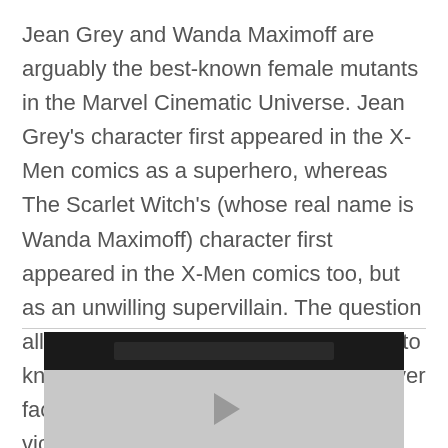Jean Grey and Wanda Maximoff are arguably the best-known female mutants in the Marvel Cinematic Universe. Jean Grey's character first appeared in the X-Men comics as a superhero, whereas The Scarlet Witch's (whose real name is Wanda Maximoff) character first appeared in the X-Men comics too, but as an unwilling supervillain. The question all comic and superhero film fans want to know the answer to is if they were to ever face each other, who would come out victorious in that fight?
[Figure (screenshot): A partially visible video player with a dark top bar and a light grey play area showing a play button arrow.]